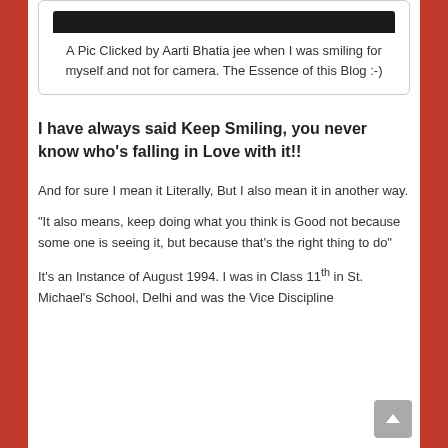[Figure (photo): Dark photo strip at top of card]
A Pic Clicked by Aarti Bhatia jee when I was smiling for myself and not for camera. The Essence of this Blog :-)
I have always said Keep Smiling, you never know who’s falling in Love with it!!
And for sure I mean it Literally, But I also mean it in another way.
“It also means, keep doing what you think is Good not because some one is seeing it, but because that’s the right thing to do”
It’s an Instance of August 1994. I was in Class 11th in St. Michael’s School, Delhi and was the Vice Discipline